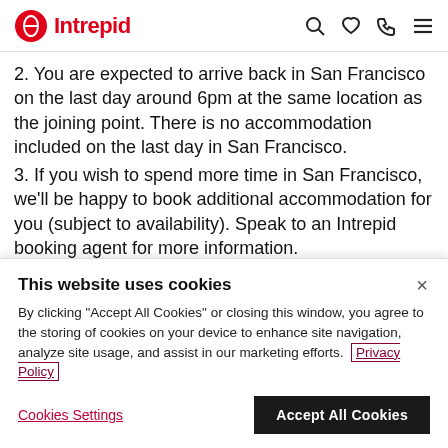Intrepid
2. You are expected to arrive back in San Francisco on the last day around 6pm at the same location as the joining point. There is no accommodation included on the last day in San Francisco.
3. If you wish to spend more time in San Francisco, we'll be happy to book additional accommodation for you (subject to availability). Speak to an Intrepid booking agent for more information.
4. A single supplement is available if you'd prefer to...
This website uses cookies
By clicking "Accept All Cookies" or closing this window, you agree to the storing of cookies on your device to enhance site navigation, analyze site usage, and assist in our marketing efforts. Privacy Policy
Cookies Settings | Accept All Cookies